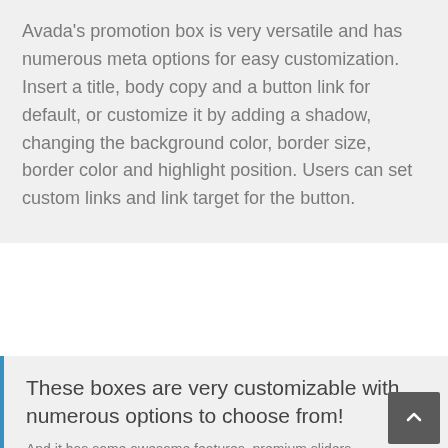Avada's promotion box is very versatile and has numerous meta options for easy customization. Insert a title, body copy and a button link for default, or customize it by adding a shadow, changing the background color, border size, border color and highlight position. Users can set custom links and link target for the button.
These boxes are very customizable with numerous options to choose from!
And it has some awesome features, premium sliders,